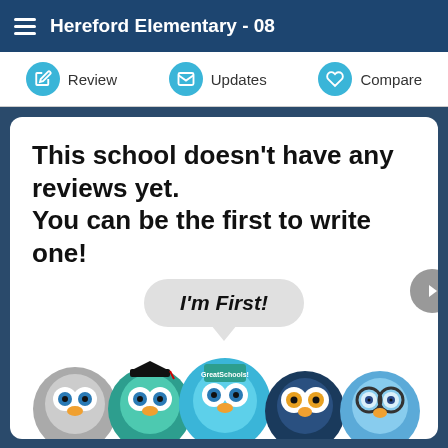Hereford Elementary - 08
Review | Updates | Compare
This school doesn't have any reviews yet.
You can be the first to write one!
[Figure (illustration): Speech bubble with text 'I'm First!' above a row of five cartoon owl avatars in circular frames]
I'm First!